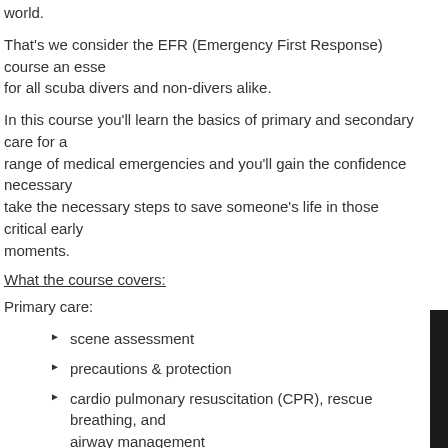world.
That's we consider the EFR (Emergency First Response) course an essential for all scuba divers and non-divers alike.
In this course you'll learn the basics of primary and secondary care for a range of medical emergencies and you'll gain the confidence necessary to take the necessary steps to save someone's life in those critical early moments.
What the course covers:
Primary care:
scene assessment
precautions & protection
cardio pulmonary resuscitation (CPR), rescue breathing, and airway management
serious bleeding management
shock management
spinal injury management
automated external defibrillator (AED) training